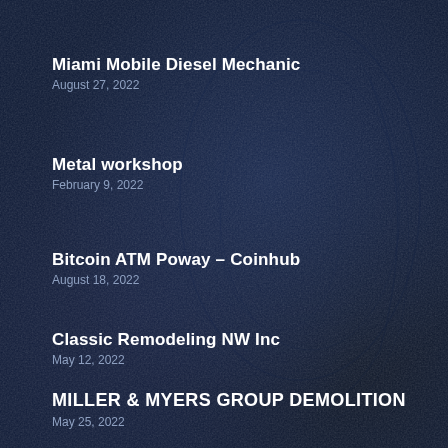Miami Mobile Diesel Mechanic
August 27, 2022
Metal workshop
February 9, 2022
Bitcoin ATM Poway – Coinhub
August 18, 2022
Classic Remodeling NW Inc
May 12, 2022
MILLER & MYERS GROUP DEMOLITION
May 25, 2022